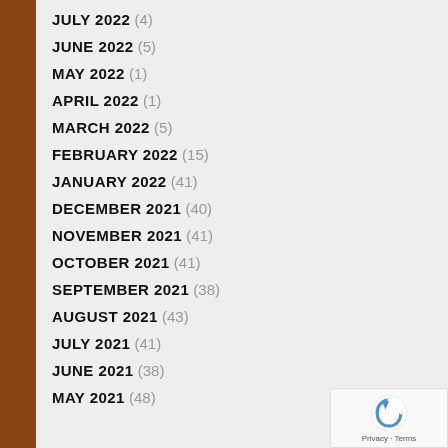JULY 2022 (4)
JUNE 2022 (5)
MAY 2022 (1)
APRIL 2022 (1)
MARCH 2022 (5)
FEBRUARY 2022 (15)
JANUARY 2022 (41)
DECEMBER 2021 (40)
NOVEMBER 2021 (41)
OCTOBER 2021 (41)
SEPTEMBER 2021 (38)
AUGUST 2021 (43)
JULY 2021 (41)
JUNE 2021 (38)
MAY 2021 (48)